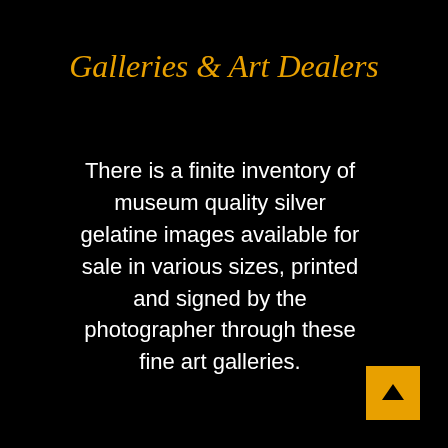Galleries & Art Dealers
There is a finite inventory of museum quality silver gelatine images available for sale in various sizes, printed and signed by the photographer through these fine art galleries.